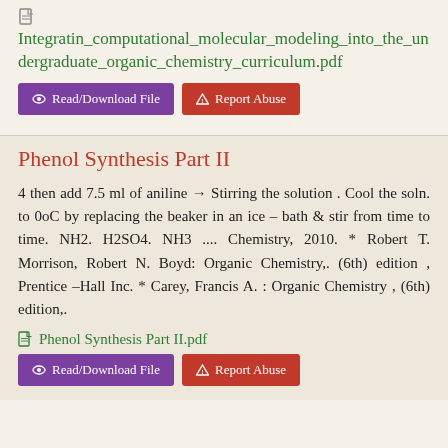[Figure (other): File/document icon]
Integratin_computational_molecular_modeling_into_the_undergraduate_organic_chemistry_curriculum.pdf
Read/Download File   Report Abuse
Phenol Synthesis Part II
4 then add 7.5 ml of aniline → Stirring the solution . Cool the soln. to 0oC by replacing the beaker in an ice – bath & stir from time to time. NH2. H2SO4. NH3 .... Chemistry, 2010. * Robert T. Morrison, Robert N. Boyd: Organic Chemistry,. (6th) edition , Prentice –Hall Inc. * Carey, Francis A. : Organic Chemistry , (6th) edition,.
Phenol Synthesis Part II.pdf
Read/Download File   Report Abuse